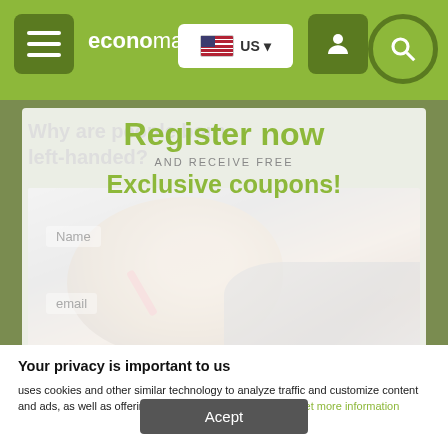economagic | US | [menu] [user] [search]
Register now
AND RECEIVE FREE
Exclusive coupons!
Why are people born left-handed?
[Figure (photo): Child leaning over paper writing or drawing, viewed from above]
Name
email
REGISTER
By registering, you agree to our terms of use and privacy policies.
CUSTOMER TERMS AND CONDITIONS
Your privacy is important to us
uses cookies and other similar technology to analyze traffic and customize content and ads, as well as offering social networking resources. Get more information
Acept